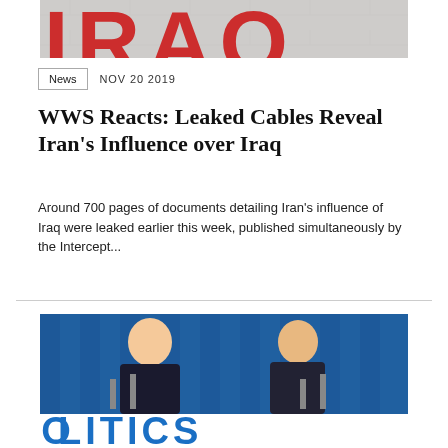[Figure (photo): Top cropped image showing large red letters IRAQ on a stone/concrete texture background]
News  NOV 20 2019
WWS Reacts: Leaked Cables Reveal Iran's Influence over Iraq
Around 700 pages of documents detailing Iran's influence of Iraq were leaked earlier this week, published simultaneously by the Intercept...
[Figure (photo): Two men in suits at a podium with microphones against a blue curtain background, with large blue POLITICS text at the bottom]